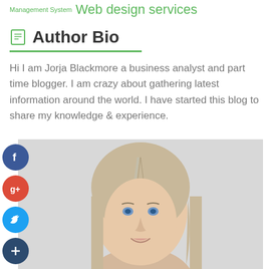Management System Web design services
Author Bio
Hi I am Jorja Blackmore a business analyst and part time blogger. I am crazy about gathering latest information around the world. I have started this blog to share my knowledge & experience.
[Figure (photo): Portrait photo of a woman with straight blonde/light hair, blue eyes, smiling, against a light gray background. Social media buttons (Facebook, Google+, Twitter, plus) are overlaid on the left side of the image.]